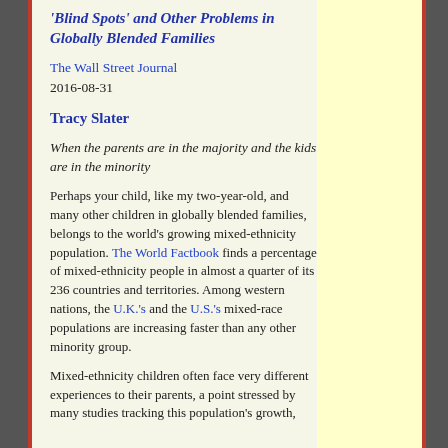'Blind Spots' and Other Problems in Globally Blended Families
The Wall Street Journal
2016-08-31
Tracy Slater
When the parents are in the majority and the kids are in the minority
Perhaps your child, like my two-year-old, and many other children in globally blended families, belongs to the world's growing mixed-ethnicity population. The World Factbook finds a percentage of mixed-ethnicity people in almost a quarter of its 236 countries and territories. Among western nations, the U.K.'s and the U.S.'s mixed-race populations are increasing faster than any other minority group.
Mixed-ethnicity children often face very different experiences to their parents, a point stressed by many studies tracking this population's growth,